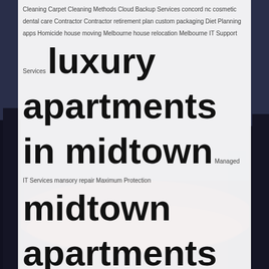[Figure (photo): Background photo of a city skyline at night, partially obscured by the white tag cloud overlay]
Cleaning Carpet Cleaning Methods Cloud Backup Services concord nc cosmetic dental care Contractor Contractor retirement plan custom packaging Diet Planning apps Homicide house moving Melbourne house relocation Melbourne IT Support Services luxury apartments in midtown Managed IT Services mansory repair Maximum Protection midtown apartments for rent midtown rentals midtown west apartments midtown west apartments for rent Murder Defense Attorney One Man Post Hole Auger parc komo site plan Parc Life EC Parc Life EC layout Parc Life EC pricelist Parc Life EC showflat Parc Life EC TOP photo backdrops photography backdrop stand Post Hole Auger real estate property management retirement plan Saber solar home solar inverter stucco and parging tooth